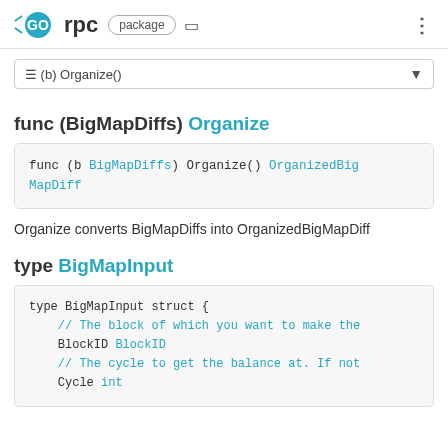GO rpc package
≡ (b) Organize()
func (BigMapDiffs) Organize
func (b BigMapDiffs) Organize() OrganizedBigMapDiff
Organize converts BigMapDiffs into OrganizedBigMapDiff
type BigMapInput
type BigMapInput struct {
    // The block of which you want to make the
    BlockID BlockID
    // The cycle to get the balance at. If not
    Cycle int